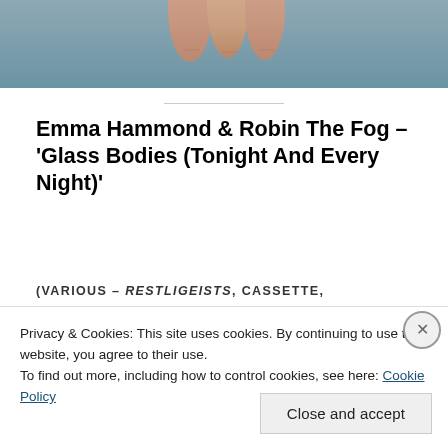[Figure (photo): Cropped photo of fingers/hand against a blue-grey background, only the bottom portion visible]
Emma Hammond & Robin The Fog – 'Glass Bodies (Tonight And Every Night)'
(VARIOUS – RESTLIGEISTS, CASSETTE,
Privacy & Cookies: This site uses cookies. By continuing to use this website, you agree to their use.
To find out more, including how to control cookies, see here: Cookie Policy
Close and accept